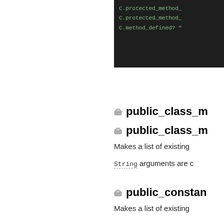[Figure (screenshot): Dark code editor snippet showing C.protected_method_, C.protected_method_, and C.method_defined? lines in green monospace font on dark background]
public_class_m
public_class_m
Makes a list of existing
String arguments are c
public_constan
Makes a list of existing
public_instance
Similar to instance_met